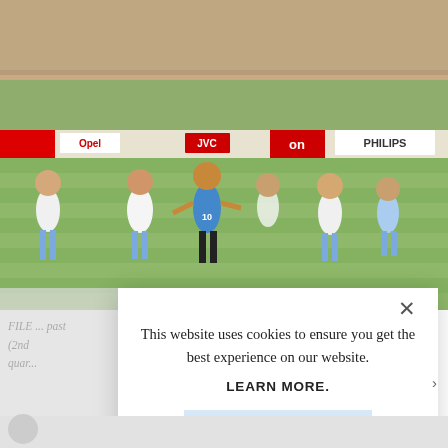[Figure (photo): A soccer match photo showing players in blue and white kits competing on a grass field, with a large stadium crowd in the background and advertising boards visible including PHILIPS, JVC, and Opel logos.]
FILE ... past (2nd quar...
Publis...
This website uses cookies to ensure you get the best experience on our website.

LEARN MORE.

ACCEPT COOKIES